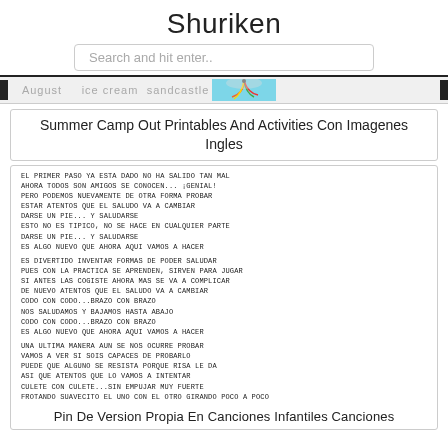Shuriken
Search and hit enter..
[Figure (screenshot): Navigation tag bar with text labels 'August', 'ice cream', 'sandcastle' and a colorful umbrella image on teal background, with black tabs on left and right edges.]
Summer Camp Out Printables And Activities Con Imagenes Ingles
EL PRIMER PASO YA ESTA DADO NO HA SALIDO TAN MAL
AHORA TODOS SON AMIGOS SE CONOCEN... ¡GENIAL!
PERO PODEMOS NUEVAMENTE DE OTRA FORMA PROBAR
ESTAR ATENTOS QUE EL SALUDO VA A CAMBIAR
DARSE UN PIE... Y SALUDARSE
ESTO NO ES TIPICO, NO SE HACE EN CUALQUIER PARTE
DARSE UN PIE... Y SALUDARSE
ES ALGO NUEVO QUE AHORA AQUI VAMOS A HACER

ES DIVERTIDO INVENTAR FORMAS DE PODER SALUDAR
PUES CON LA PRACTICA SE APRENDEN, SIRVEN PARA JUGAR
SI ANTES LAS COGISTE AHORA MAS SE VA A COMPLICAR
DE NUEVO ATENTOS QUE EL SALUDO VA A CAMBIAR
CODO CON CODO...BRAZO CON BRAZO
NOS SALUDAMOS Y BAJAMOS HASTA ABAJO
CODO CON CODO...BRAZO CON BRAZO
ES ALGO NUEVO QUE AHORA AQUI VAMOS A HACER

UNA ULTIMA MANERA AUN SE NOS OCURRE PROBAR
VAMOS A VER SI SOIS CAPACES DE PROBARLO
PUEDE QUE ALGUNO SE RESISTA PORQUE RISA LE DA
ASI QUE ATENTOS QUE LO VAMOS A INTENTAR
CULETE CON CULETE...SIN EMPUJAR MUY FUERTE
FROTANDO SUAVECITO EL UNO CON EL OTRO GIRANDO POCO A POCO
Pin De Version Propia En Canciones Infantiles Canciones